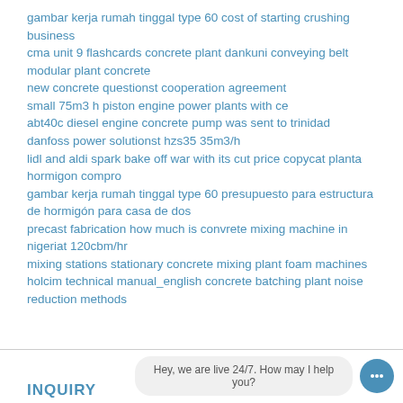gambar kerja rumah tinggal type 60 cost of starting crushing business
cma unit 9 flashcards concrete plant dankuni conveying belt modular plant concrete
new concrete questionst cooperation agreement
small 75m3 h piston engine power plants with ce
abt40c diesel engine concrete pump was sent to trinidad
danfoss power solutionst hzs35 35m3/h
lidl and aldi spark bake off war with its cut price copycat planta hormigon compro
gambar kerja rumah tinggal type 60 presupuesto para estructura de hormigón para casa de dos
precast fabrication how much is convrete mixing machine in nigeriat 120cbm/hr
mixing stations stationary concrete mixing plant foam machines
holcim technical manual_english concrete batching plant noise reduction methods
Hey, we are live 24/7. How may I help you?
INQUIRY